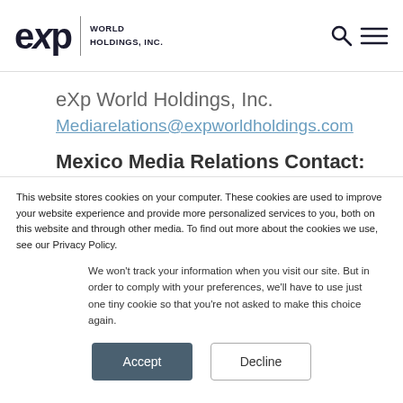[Figure (logo): eXp World Holdings, Inc. logo with stylized 'exp' text and divider bar with company name text]
eXp World Holdings, Inc.
Mediarelations@expworldholdings.com
Mexico Media Relations Contact:
Ismael Gonzalez
ismael.gonzalez@exprealty.net
This website stores cookies on your computer. These cookies are used to improve your website experience and provide more personalized services to you, both on this website and through other media. To find out more about the cookies we use, see our Privacy Policy.
We won't track your information when you visit our site. But in order to comply with your preferences, we'll have to use just one tiny cookie so that you're not asked to make this choice again.